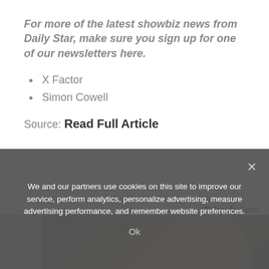For more of the latest showbiz news from Daily Star, make sure you sign up for one of our newsletters here.
X Factor
Simon Cowell
Source: Read Full Article
[Figure (other): Taboola Feed logo/label in top right]
[Figure (photo): Photo of a blonde woman smiling, crowd in background, partially obscured by cookie consent overlay]
We and our partners use cookies on this site to improve our service, perform analytics, personalize advertising, measure advertising performance, and remember website preferences.
Ok